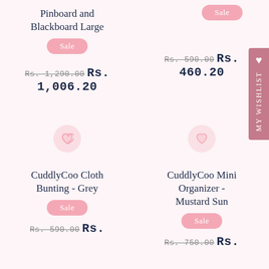Pinboard and Blackboard Large
[Figure (other): Sale badge for Pinboard and Blackboard Large]
Rs. 1,290.00  Rs. 1,006.20
[Figure (other): Sale badge top right for second product]
Rs. 590.00  Rs. 460.20
[Figure (other): Heart wishlist icon circle left]
[Figure (other): Heart wishlist icon circle right]
My Wishlist sidebar
CuddlyCoo Cloth Bunting - Grey
CuddlyCoo Mini Organizer - Mustard Sun
[Figure (other): Sale badge for CuddlyCoo Cloth Bunting]
[Figure (other): Sale badge for CuddlyCoo Mini Organizer]
Rs. 590.00  Rs.
Rs. 750.00  Rs.